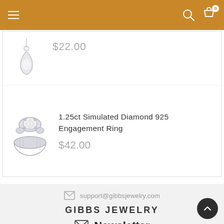Gibbs Jewelry navigation bar with hamburger menu, search icon, and cart icon
$22.00
1.25ct Simulated Diamond 925 Engagement Ring
$42.00
support@gibbsjewelry.com
GIBBS JEWELRY
Newsletter